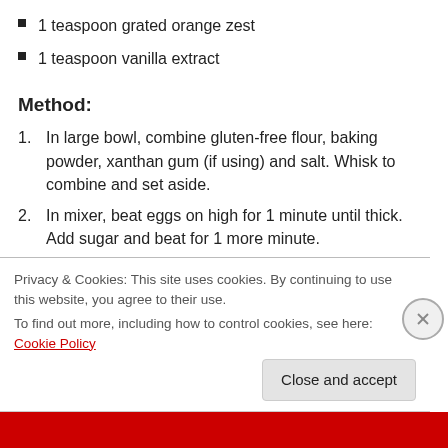1 teaspoon grated orange zest
1 teaspoon vanilla extract
Method:
1. In large bowl, combine gluten-free flour, baking powder, xanthan gum (if using) and salt. Whisk to combine and set aside.
2. In mixer, beat eggs on high for 1 minute until thick. Add sugar and beat for 1 more minute.
3. Add oil, orange juice, zest and vanilla extract and beat until combined.
Privacy & Cookies: This site uses cookies. By continuing to use this website, you agree to their use.
To find out more, including how to control cookies, see here: Cookie Policy
Close and accept